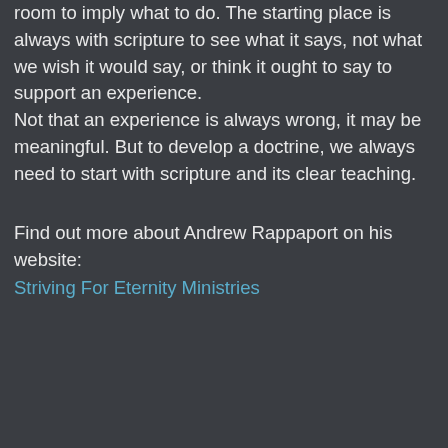room to imply what to do. The starting place is always with scripture to see what it says, not what we wish it would say, or think it ought to say to support an experience.
Not that an experience is always wrong, it may be meaningful. But to develop a doctrine, we always need to start with scripture and its clear teaching.
Find out more about Andrew Rappaport on his website:
Striving For Eternity Ministries